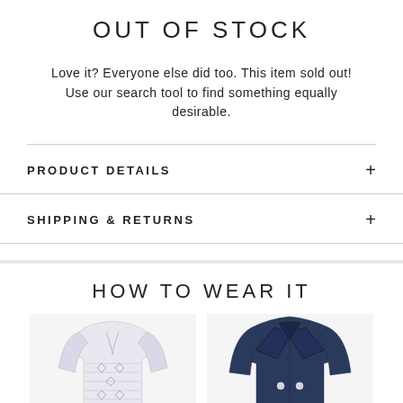OUT OF STOCK
Love it? Everyone else did too. This item sold out! Use our search tool to find something equally desirable.
PRODUCT DETAILS
SHIPPING & RETURNS
HOW TO WEAR IT
[Figure (photo): Two garment photos side by side: left is a white/grey patterned blouse with long sleeves and V-neck; right is a navy blue double-breasted blazer jacket.]